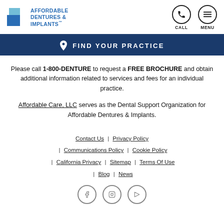AFFORDABLE DENTURES & IMPLANTS | CALL | MENU
FIND YOUR PRACTICE
Please call 1-800-DENTURE to request a FREE BROCHURE and obtain additional information related to services and fees for an individual practice.
Affordable Care, LLC serves as the Dental Support Organization for Affordable Dentures & Implants.
Contact Us | Privacy Policy | Communications Policy | Cookie Policy | California Privacy | Sitemap | Terms Of Use | Blog | News